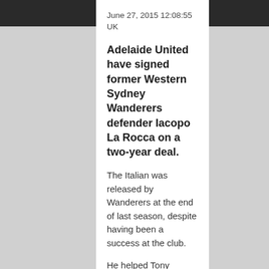June 27, 2015 12:08:55 UK
Adelaide United have signed former Western Sydney Wanderers defender Iacopo La Rocca on a two-year deal.
The Italian was released by Wanderers at the end of last season, despite having been a success at the club.
He helped Tony Popovic's side win the Asian Champions League last December, playing in both legs of the final against Saudi Arabian side Al-Hilal, who are 4.00 to win this year's ACL.
I reckon we can win more trophies.

Iacopo La Rocca